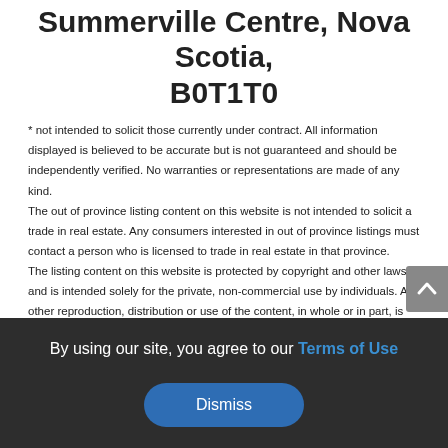Summerville Centre, Nova Scotia, B0T1T0
* not intended to solicit those currently under contract. All information displayed is believed to be accurate but is not guaranteed and should be independently verified. No warranties or representations are made of any kind.
The out of province listing content on this website is not intended to solicit a trade in real estate. Any consumers interested in out of province listings must contact a person who is licensed to trade in real estate in that province.
The listing content on this website is protected by copyright and other laws, and is intended solely for the private, non-commercial use by individuals. Any other reproduction, distribution or use of the content, in whole or in part, is specifically forbidden. The prohibited uses include commercial use, "screen scraping", "database scraping", and any other activity intended to collect, store, reorganize
By using our site, you agree to our Terms of Use
Dismiss